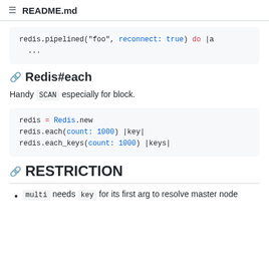README.md
[Figure (screenshot): Code block showing: redis.pipelined("foo", reconnect: true) do |a
  ...]
Redis#each
Handy SCAN especially for block.
[Figure (screenshot): Code block showing:
redis = Redis.new
redis.each(count: 1000) |key|
redis.each_keys(count: 1000) |keys|]
RESTRICTION
multi needs key for its first arg to resolve master node